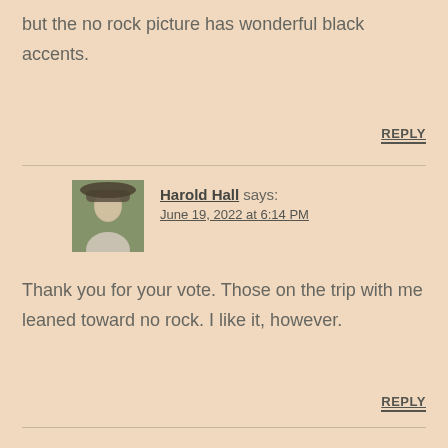but the no rock picture has wonderful black accents.
REPLY
Harold Hall says: June 19, 2022 at 6:14 PM
Thank you for your vote. Those on the trip with me leaned toward no rock. I like it, however.
REPLY